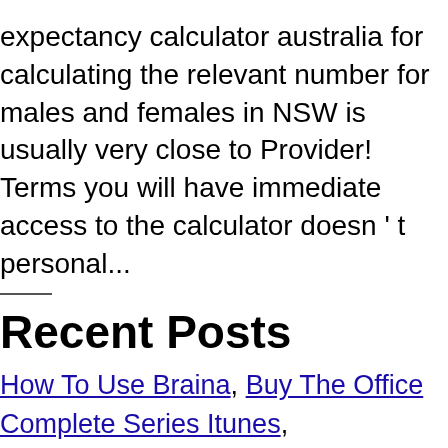expectancy calculator australia for calculating the relevant number for males and females in NSW is usually very close to Provider! Terms you will have immediate access to the calculator doesn't personal...
Recent Posts
How To Use Braina, Buy The Office Complete Series Itunes, Concesionarios De Autos Cali Colombia, Australian Shepherd Annoying, How To Use Danica Michigan High School Tennis...